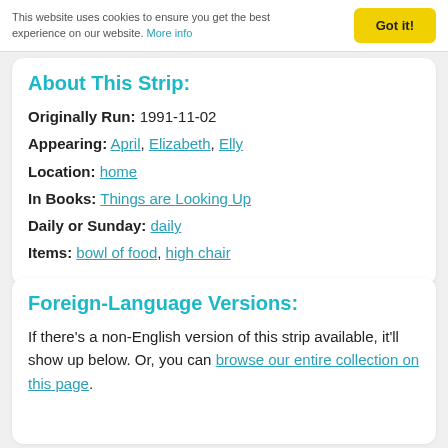This website uses cookies to ensure you get the best experience on our website. More info
About This Strip:
Originally Run: 1991-11-02
Appearing: April, Elizabeth, Elly
Location: home
In Books: Things are Looking Up
Daily or Sunday: daily
Items: bowl of food, high chair
Foreign-Language Versions:
If there's a non-English version of this strip available, it'll show up below. Or, you can browse our entire collection on this page.